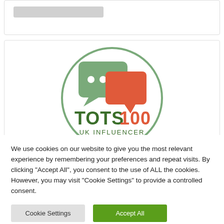[Figure (logo): Tots100 UK Influencer logo: a circle outline containing two speech bubbles (one grey-green, one orange-red) above bold text 'TOTS100' in dark green and orange, with 'UK INFLUENCER' in dark green below]
We use cookies on our website to give you the most relevant experience by remembering your preferences and repeat visits. By clicking "Accept All", you consent to the use of ALL the cookies. However, you may visit "Cookie Settings" to provide a controlled consent.
Cookie Settings
Accept All